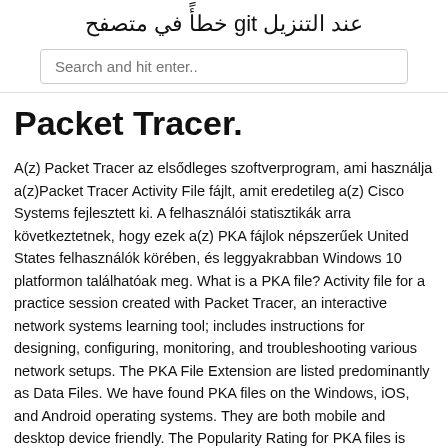عند التنزيل git خطأً في متصفح
Search and hit enter..
Packet Tracer.
A(z) Packet Tracer az elsődleges szoftverprogram, ami használja a(z)Packet Tracer Activity File fájlt, amit eredetileg a(z) Cisco Systems fejlesztett ki. A felhasználói statisztikák arra következtetnek, hogy ezek a(z) PKA fájlok népszerűek United States felhasználók körében, és leggyakrabban Windows 10 platformon találhatóak meg. What is a PKA file? Activity file for a practice session created with Packet Tracer, an interactive network systems learning tool; includes instructions for designing, configuring, monitoring, and troubleshooting various network setups. The PKA File Extension are listed predominantly as Data Files. We have found PKA files on the Windows, iOS, and Android operating systems. They are both mobile and desktop device friendly. The Popularity Rating for PKA files is "Low", which means these files are not ordinarily found on an everyday user's device.